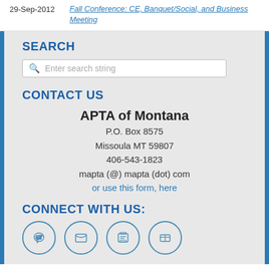29-Sep-2012
Fall Conference: CE, Banquet/Social, and Business Meeting
SEARCH
Enter search string
CONTACT US
APTA of Montana
P.O. Box 8575
Missoula MT 59807
406-543-1823
mapta (@) mapta (dot) com
or use this form, here
CONNECT WITH US: